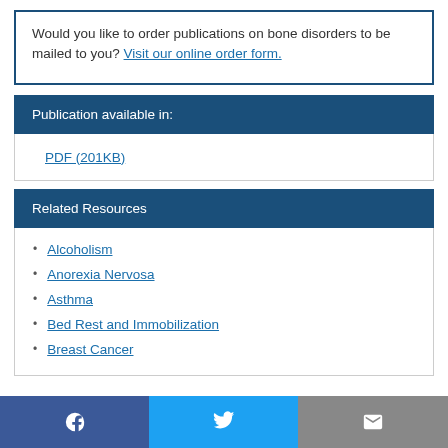Would you like to order publications on bone disorders to be mailed to you? Visit our online order form.
Publication available in:
PDF (201KB)
Related Resources
Alcoholism
Anorexia Nervosa
Asthma
Bed Rest and Immobilization
Breast Cancer